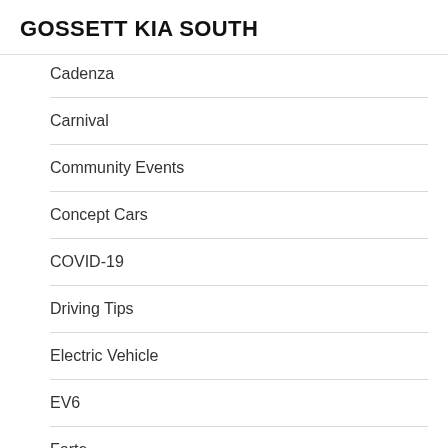GOSSETT KIA SOUTH
Cadenza
Carnival
Community Events
Concept Cars
COVID-19
Driving Tips
Electric Vehicle
EV6
Forte
Fuel Economy
Gossett Kia South